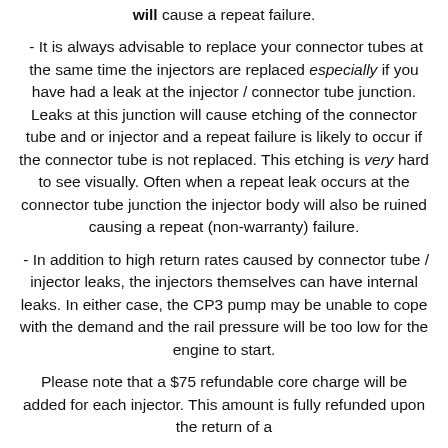will cause a repeat failure.
- It is always advisable to replace your connector tubes at the same time the injectors are replaced especially if you have had a leak at the injector / connector tube junction. Leaks at this junction will cause etching of the connector tube and or injector and a repeat failure is likely to occur if the connector tube is not replaced. This etching is very hard to see visually. Often when a repeat leak occurs at the connector tube junction the injector body will also be ruined causing a repeat (non-warranty) failure.
- In addition to high return rates caused by connector tube / injector leaks, the injectors themselves can have internal leaks. In either case, the CP3 pump may be unable to cope with the demand and the rail pressure will be too low for the engine to start.
Please note that a $75 refundable core charge will be added for each injector. This amount is fully refunded upon the return of a